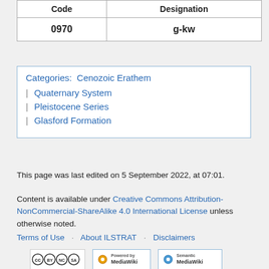| Code | Designation |
| --- | --- |
| 0970 | g-kw |
Categories: Cenozoic Erathem | Quaternary System | Pleistocene Series | Glasford Formation
This page was last edited on 5 September 2022, at 07:01.
Content is available under Creative Commons Attribution-NonCommercial-ShareAlike 4.0 International License unless otherwise noted.
Terms of Use · About ILSTRAT · Disclaimers
[Figure (logo): Creative Commons BY NC SA license badge, MediaWiki badge, and Semantic MediaWiki badge]